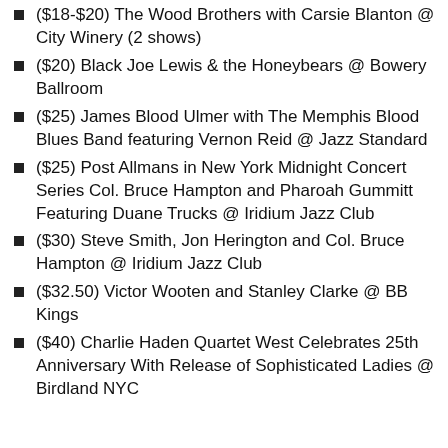($18-$20) The Wood Brothers with Carsie Blanton @ City Winery (2 shows)
($20) Black Joe Lewis & the Honeybears @ Bowery Ballroom
($25) James Blood Ulmer with The Memphis Blood Blues Band featuring Vernon Reid @ Jazz Standard
($25) Post Allmans in New York Midnight Concert Series Col. Bruce Hampton and Pharoah Gummitt Featuring Duane Trucks @ Iridium Jazz Club
($30) Steve Smith, Jon Herington and Col. Bruce Hampton @ Iridium Jazz Club
($32.50) Victor Wooten and Stanley Clarke @ BB Kings
($40) Charlie Haden Quartet West Celebrates 25th Anniversary With Release of Sophisticated Ladies @ Birdland NYC